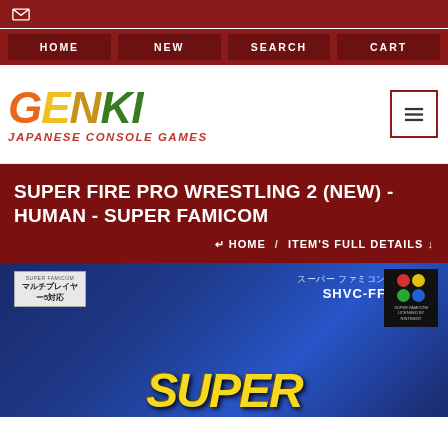Email icon / top bar
HOME / NEW / SEARCH / CART
[Figure (logo): GENKI Japanese Console Games logo with hamburger menu button]
SUPER FIRE PRO WRESTLING 2 (NEW) - HUMAN - SUPER FAMICOM
↵ HOME / ITEM'S FULL DETAILS ↓
[Figure (photo): Super Famicom game box for Super Fire Pro Wrestling 2 showing blue box art with Japanese text, SHVC-FF label, Nintendo Super Famicom logo, and SUPER text at the bottom]